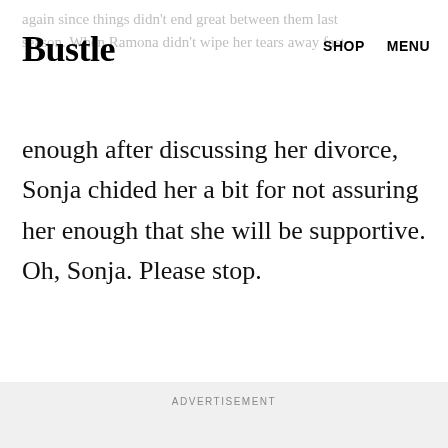Bustle  SHOP  MENU
again since things didn't end great between them last season. When Ramona didn't wipe her tears away fast enough after discussing her divorce, Sonja chided her a bit for not assuring her enough that she will be supportive. Oh, Sonja. Please stop.
ADVERTISEMENT